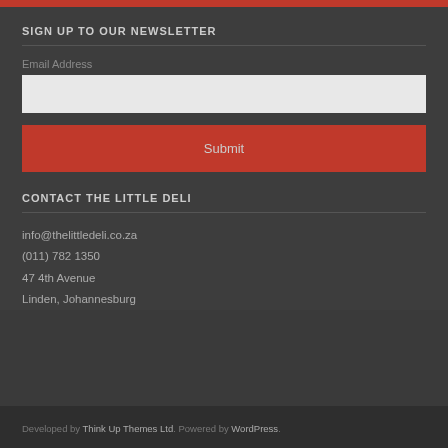SIGN UP TO OUR NEWSLETTER
Email Address
CONTACT THE LITTLE DELI
info@thelittledeli.co.za
(011) 782 1350
47 4th Avenue
Linden, Johannesburg
Developed by Think Up Themes Ltd. Powered by WordPress.